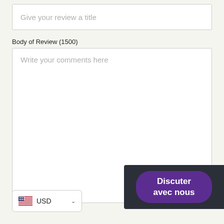[Figure (screenshot): Text input field with placeholder text 'Give your review a title']
Body of Review (1500)
[Figure (screenshot): Large textarea input field with placeholder text 'Write your comments here']
[Figure (screenshot): Chat button with dark background and purple pill-shaped button labeled 'Discuter avec nous']
[Figure (screenshot): Currency selector showing US flag and 'USD' with dropdown arrow]